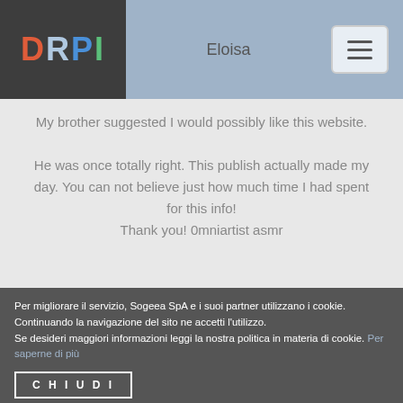DRPI | Eloisa
My brother suggested I would possibly like this website.

He was once totally right. This publish actually made my day. You can not believe just how much time I had spent for this info!
Thank you! 0mniartist asmr
Per migliorare il servizio, Sogeea SpA e i suoi partner utilizzano i cookie. Continuando la navigazione del sito ne accetti l'utilizzo.
Se desideri maggiori informazioni leggi la nostra politica in materia di cookie. Per saperne di più
CHIUDI